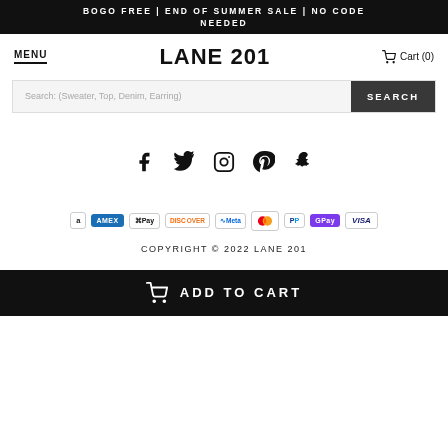BOGO FREE | END OF SUMMER SALE | NO CODE NEEDED
LANE 201
MENU
Cart (0)
Search: (Sweater, Top, Denim, Earring)
[Figure (infographic): Social media icons: Facebook, Twitter, Instagram, Pinterest, Snapchat]
[Figure (infographic): Payment method icons: Amazon, American Express, Apple Pay, Discover, Meta Pay, Mastercard, PayPal, GPay, Visa]
COPYRIGHT © 2022 LANE 201
ADD TO CART